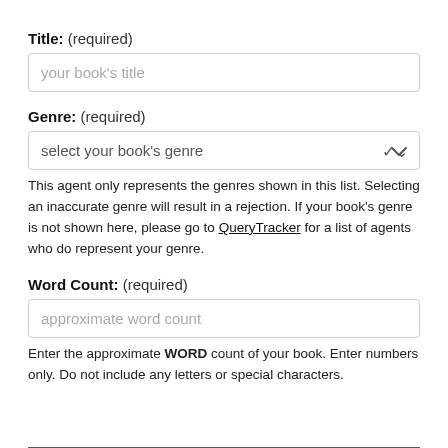Title: (required)
your book's title
Genre: (required)
select your book's genre
This agent only represents the genres shown in this list. Selecting an inaccurate genre will result in a rejection. If your book's genre is not shown here, please go to QueryTracker for a list of agents who do represent your genre.
Word Count: (required)
approximate word count
Enter the approximate WORD count of your book. Enter numbers only. Do not include any letters or special characters.